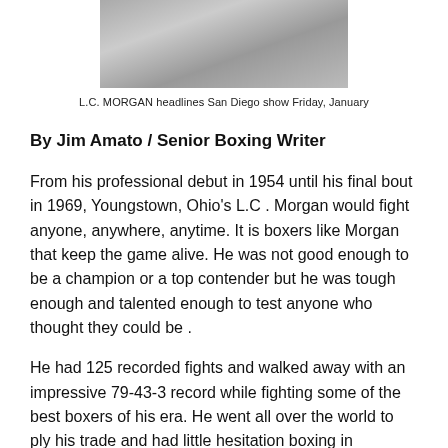[Figure (photo): Black and white photograph of L.C. Morgan, a boxer, partially visible at top of page]
L.C. MORGAN headlines San Diego show Friday, January
By Jim Amato / Senior Boxing Writer
From his professional debut in 1954 until his final bout in 1969, Youngstown, Ohio's L.C. Morgan would fight anyone, anywhere, anytime. It is boxers like Morgan that keep the game alive. He was not good enough to be a champion or a top contender but he was tough enough and talented enough to test anyone who thought they could be .
He had 125 recorded fights and walked away with an impressive 79-43-3 record while fighting some of the best boxers of his era. He went all over the world to ply his trade and had little hesitation boxing in someone's hometown . He knew if it was on the up and up he could compete with